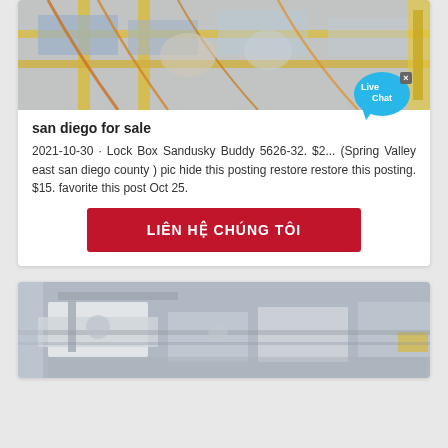[Figure (photo): Aerial view of industrial machinery with yellow rails and orange/blue equipment]
san diego for sale
2021-10-30 · Lock Box Sandusky Buddy 5626-32. $2... (Spring Valley east san diego county ) pic hide this posting restore restore this posting. $15. favorite this post Oct 25.
[Figure (other): Live Chat bubble icon with blue speech balloon]
LIÊN HỆ CHÚNG TÔI
[Figure (photo): Industrial machinery in a warehouse/factory setting, greyscale tones]